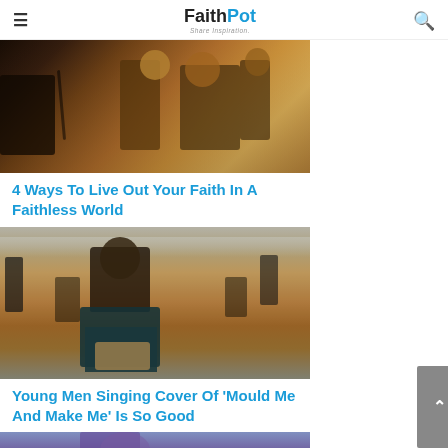FaithPot — Share Inspiration.
[Figure (photo): Group of people with hands raised in worship, backlit with warm golden light]
4 Ways To Live Out Your Faith In A Faithless World
[Figure (photo): Young man in dark traditional shirt singing passionately outdoors in a sandy field with other people in the background]
Young Men Singing Cover Of 'Mould Me And Make Me' Is So Good
[Figure (photo): Partial view of person at bottom of page, purple/blue toned background]